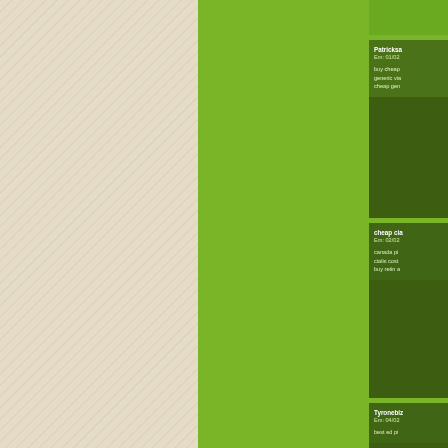[Figure (other): Webpage layout showing a beige diagonal-hatched left background, a large green center column, a thin beige vertical divider, and a right dark-green sidebar with comment cards]
Patricksа
Em: 01/02
buy cheap
generic via
cheap gen
cheap cia
Em: 02/02
canada pi
cialis cost
buy retin a
Tyronebiz
Em: 04/02
best ed pi